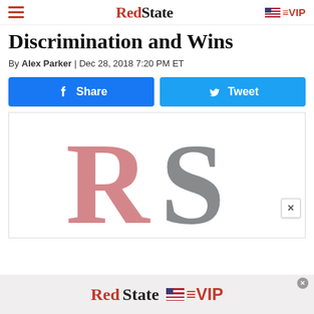RedState | VIP
Discrimination and Wins
By Alex Parker | Dec 28, 2018 7:20 PM ET
[Figure (other): Facebook Share button and Twitter Tweet button]
[Figure (logo): RedState RS logo with pink R and gray S letters]
[Figure (logo): RedState VIP advertisement banner at bottom of page]